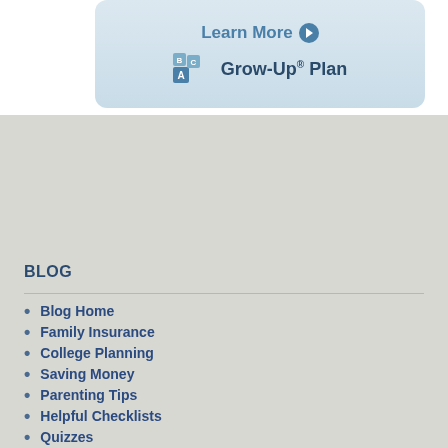[Figure (illustration): Banner card with light blue gradient background showing Learn More button with arrow icon and ABC blocks icon with Grow-Up Plan text]
BLOG
Blog Home
Family Insurance
College Planning
Saving Money
Parenting Tips
Helpful Checklists
Quizzes
Health & Safety
GERBER LIFE